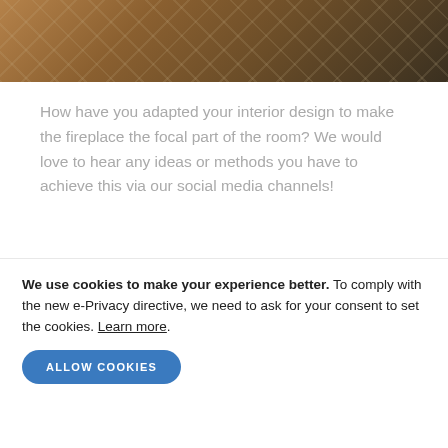[Figure (photo): Partial view of a decorative rug or fabric with geometric/chain pattern in orange/brown tones on a table surface]
How have you adapted your interior design to make the fireplace the focal part of the room? We would love to hear any ideas or methods you have to achieve this via our social media channels!
BACK TO NEWS >
CONTACT | T&C'S | PRIVACY | KLARNA
We use cookies to make your experience better. To comply with the new e-Privacy directive, we need to ask for your consent to set the cookies. Learn more.
ALLOW COOKIES